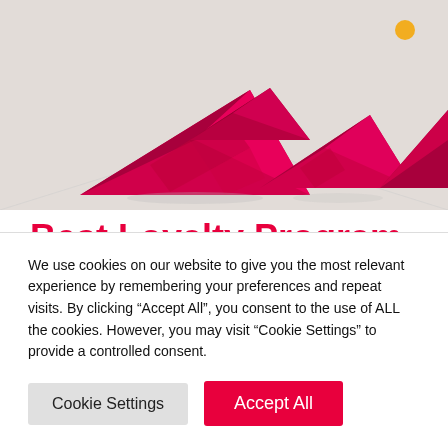[Figure (photo): Red/magenta geometric pyramid/triangle shaped award trophies on a light surface, photographed from an angle showing depth.]
Best Loyalty Program
Do you have a loyalty program? Yes? And do you have the BEST loyalty program? Enter the
We use cookies on our website to give you the most relevant experience by remembering your preferences and repeat visits. By clicking “Accept All”, you consent to the use of ALL the cookies. However, you may visit “Cookie Settings” to provide a controlled consent.